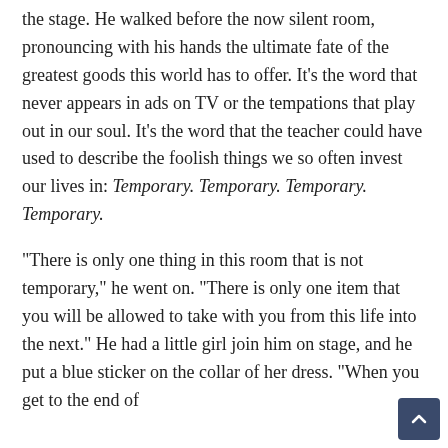the stage. He walked before the now silent room, pronouncing with his hands the ultimate fate of the greatest goods this world has to offer. It's the word that never appears in ads on TV or the tempations that play out in our soul. It's the word that the teacher could have used to describe the foolish things we so often invest our lives in: Temporary. Temporary. Temporary. Temporary.
"There is only one thing in this room that is not temporary," he went on. "There is only one item that you will be allowed to take with you from this life into the next." He had a little girl join him on stage, and he put a blue sticker on the collar of her dress. "When you get to the end of